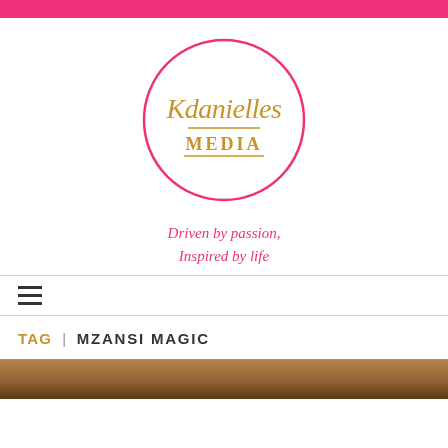[Figure (logo): Kdanielles Media logo: a pink circle outline containing gold cursive text 'Kdanielles' and gold uppercase serif text 'MEDIA' with a gold underline]
Driven by passion,
Inspired by life
≡
TAG | MZANSI MAGIC
[Figure (photo): Partial image at bottom of page, appears to be a dark/warm toned photograph]